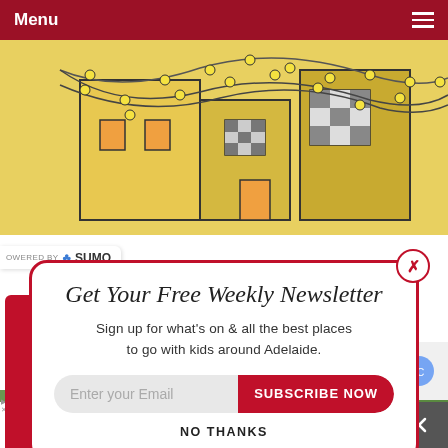Menu
[Figure (illustration): Decorative illustration showing a building with string lights (fairy lights) with yellow bulbs strung across, drawn in a cartoon/sketch style on a yellow background]
Get Your Free Weekly Newsletter
Sign up for what's on & all the best places to go with kids around Adelaide.
Enter your Email  SUBSCRIBE NOW
NO THANKS
[Figure (photo): Photo of gum trees (eucalyptus) with green foliage against a light sky]
In-store shopping